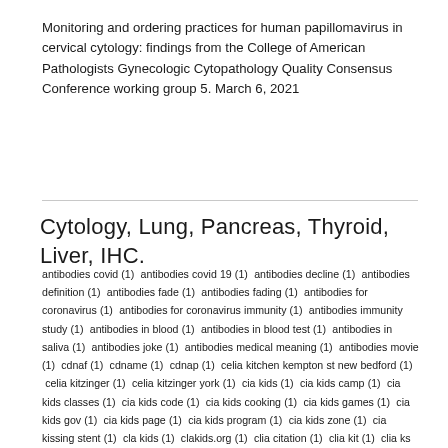Monitoring and ordering practices for human papillomavirus in cervical cytology: findings from the College of American Pathologists Gynecologic Cytopathology Quality Consensus Conference working group 5. March 6, 2021
Cytology, Lung, Pancreas, Thyroid, Liver, IHC.
antibodies covid (1) antibodies covid 19 (1) antibodies decline (1) antibodies definition (1) antibodies fade (1) antibodies fading (1) antibodies for coronavirus (1) antibodies for coronavirus immunity (1) antibodies immunity study (1) antibodies in blood (1) antibodies in blood test (1) antibodies in saliva (1) antibodies joke (1) antibodies medical meaning (1) antibodies movie (1) cdnaf (1) cdname (1) cdnap (1) celia kitchen kempton st new bedford (1) celia kitzinger (1) celia kitzinger york (1) cia kids (1) cia kids camp (1) cia kids classes (1) cia kids code (1) cia kids cooking (1) cia kids games (1) cia kids gov (1) cia kids page (1) cia kids program (1) cia kids zone (1) cia kissing stent (1) cla kids (1) clakids.org (1) clia citation (1) clia kit (1) clia ks (1) cli kit (1) clima kids turma da monica (1) clima kissimmee (1) clima kissimmee florida (1) clio kids throwing rocks (1) culture cells definition (1) culture cells in pure serum (1) culture cells meaning (1)